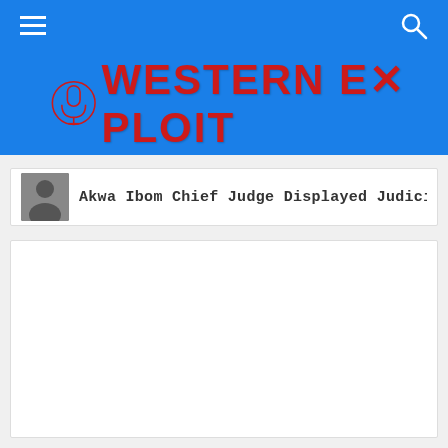Western Exploit
Akwa Ibom Chief Judge Displayed Judicial Shamelessne...